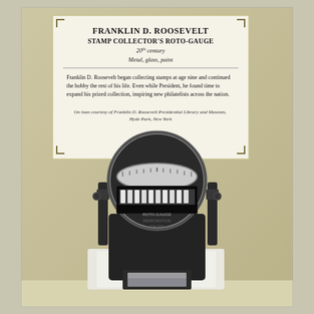[Figure (photo): Museum exhibit photo showing Franklin D. Roosevelt's Stamp Collector's Roto-Gauge. In the background is a museum placard mounted on a beige wall. The placard reads: 'FRANKLIN D. ROOSEVELT STAMP COLLECTOR'S ROTO-GAUGE, 20th century, Metal, glass, paint'. Below a horizontal rule: 'Franklin D. Roosevelt began collecting stamps at age nine and continued the hobby the rest of his life. Even while President, he found time to expand his prized collection, inspiring new philatelists across the nation.' Credit line: 'On loan courtesy of Franklin D. Roosevelt Presidential Library and Museum, Hyde Park, New York'. In the foreground sits a black metal roto-gauge device on a white display stand.]